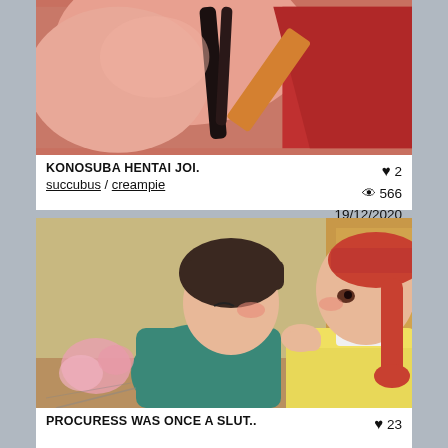[Figure (screenshot): Cropped anime/hentai illustration showing upper body in red outfit with dark hair — top portion of card 1]
KONOSUBA HENTAI JOI.
succubus / creampie
♥ 2  👁 566  19/12/2020
[Figure (screenshot): Anime screenshot showing two characters close together — male with dark hair in teal shirt and female with red hair in yellow top]
PROCURESS WAS ONCE A SLUT..
♥ 23